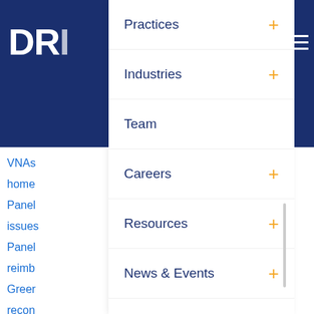DRI [logo/header bar with navigation]
Practices +
Industries +
Team
Careers +
Resources +
News & Events +
VNAs
home
Panel
issues
Panel
reimb
Greer
recon
Tools
Panel